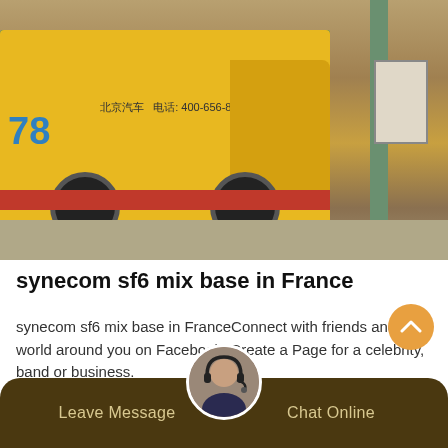[Figure (photo): A yellow utility/emergency truck with Chinese text and number 78 on the side, parked near an industrial structure with green poles and a building in the background.]
synecom sf6 mix base in France
synecom sf6 mix base in FranceConnect with friends and the world around you on Facebook. Create a Page for a celebrity, band or business.
Leave Message   Chat Online